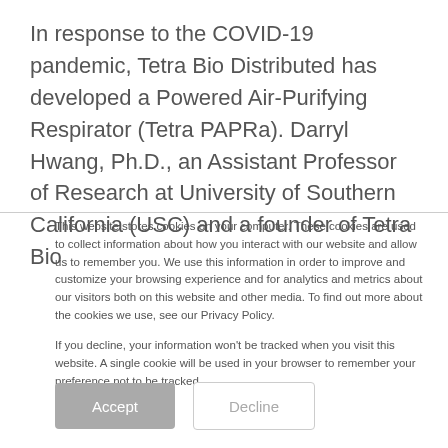In response to the COVID-19 pandemic, Tetra Bio Distributed has developed a Powered Air-Purifying Respirator (Tetra PAPRa). Darryl Hwang, Ph.D., an Assistant Professor of Research at University of Southern California (USC) and a founder of Tetra Bio
This website stores cookies on your computer. These cookies are used to collect information about how you interact with our website and allow us to remember you. We use this information in order to improve and customize your browsing experience and for analytics and metrics about our visitors both on this website and other media. To find out more about the cookies we use, see our Privacy Policy.
If you decline, your information won't be tracked when you visit this website. A single cookie will be used in your browser to remember your preference not to be tracked.